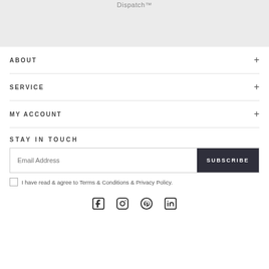Dispatch™
ABOUT
SERVICE
MY ACCOUNT
STAY IN TOUCH
Email Address
SUBSCRIBE
I have read & agree to Terms & Conditions & Privacy Policy.
[Figure (other): Social media icons: Facebook, Instagram, Pinterest, LinkedIn]